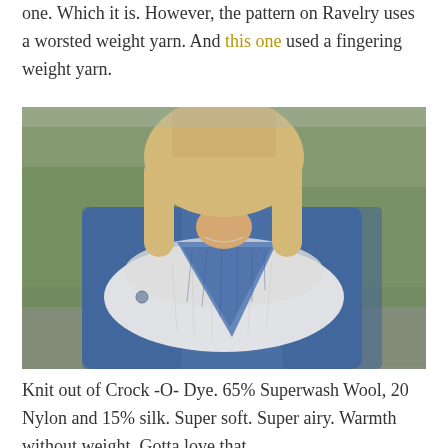one.  Which it is.  However, the pattern on Ravelry uses a worsted weight yarn.  And this one used a fingering weight yarn.
[Figure (photo): A woman wearing a blue crocheted/knitted triangular shawl and a white lacy infinity scarf over a denim jacket, photographed outdoors with blurred greenery in the background.]
Knit out of Crock -O- Dye.  65% Superwash Wool, 20 Nylon and 15% silk.  Super soft.  Super airy.  Warmth without weight.  Gotta love that.
Happy Weekend friends!